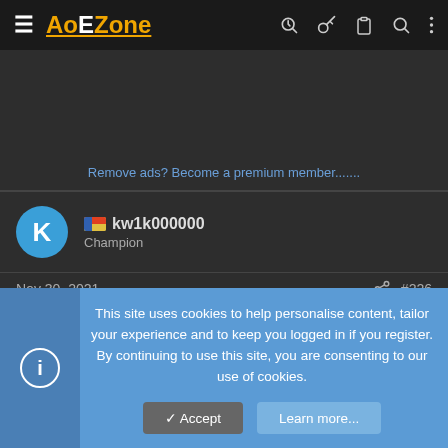AoEZone
Remove ads? Become a premium member.......
kw1k000000
Champion
Nov 30, 2021  #226
z3us said:
This site uses cookies to help personalise content, tailor your experience and to keep you logged in if you register. By continuing to use this site, you are consenting to our use of cookies.
Accept  Learn more...